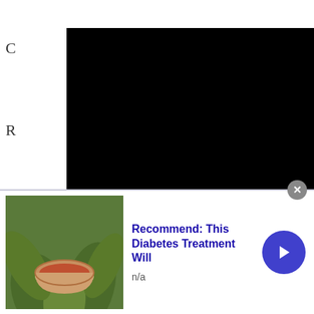[Figure (screenshot): Black video player with white play button triangle in center, partially overlaying left column text]
Peyton Young
[Figure (infographic): Advertisement banner: image of a red drink/soup in a bowl surrounded by green plants, with text 'Recommend: This Diabetes Treatment Will' in blue, 'n/a' below, a blue circular arrow button on the right, and a gray X close button at top right]